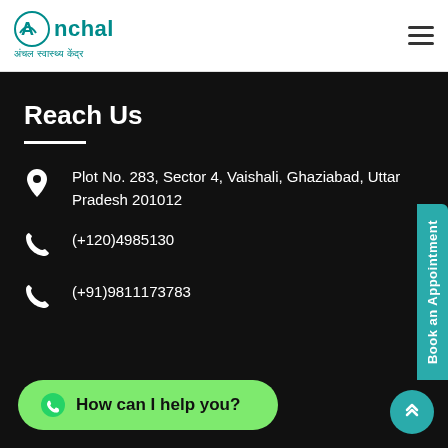Anchal Aanchal Swasthya Kendra
Reach Us
Plot No. 283, Sector 4, Vaishali, Ghaziabad, Uttar Pradesh 201012
(+120)4985130
(+91)9811173783
How can I help you?